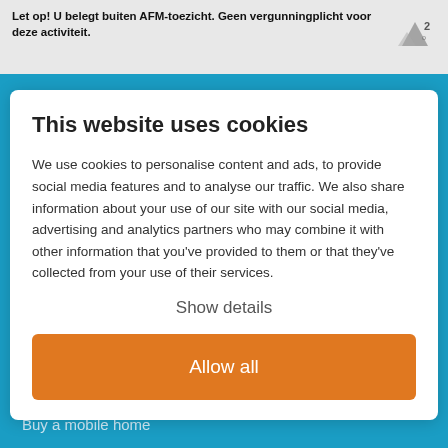Let op! U belegt buiten AFM-toezicht. Geen vergunningplicht voor deze activiteit.
This website uses cookies
We use cookies to personalise content and ads, to provide social media features and to analyse our traffic. We also share information about your use of our site with our social media, advertising and analytics partners who may combine it with other information that you've provided to them or that they've collected from your use of their services.
Show details
Allow all
Buy a mobile home